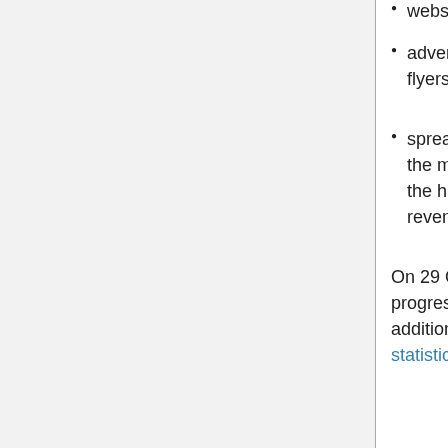websites;
advertising the link to Jamendo on flyers, artists sites etc.;
spreading the word about Jamendo: the more popular the site, the greater the hit count and thus the greater the revenue.
On 29 October 2007, economist Aaron Schiff from 26econ.com wrote on the progress of voluntary donations on Jamendo, providing statistics as follows, in addition to the Excel file of the data. This sits alongside Jamendo's donation statistics.
On analysis, Schiff found that total donations were small:
Jamendo currently claims about 69,000 songs are available for download... Over the 22 months